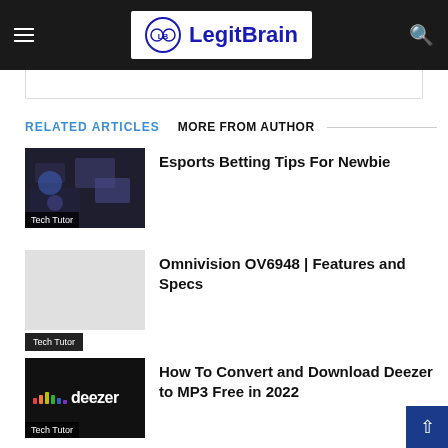LegitBrain
RELATED ARTICLES  MORE FROM AUTHOR
Esports Betting Tips For Newbie
Tech Tutor
Omnivision OV6948 | Features and Specs
Tech Tutor
How To Convert and Download Deezer to MP3 Free in 2022
Tech Tutor